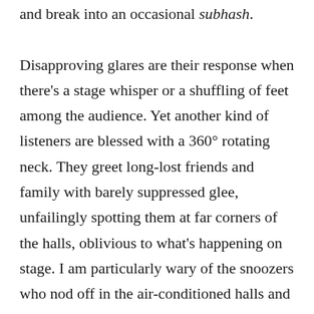and break into an occasional subhash. Disapproving glares are their response when there's a stage whisper or a shuffling of feet among the audience. Yet another kind of listeners are blessed with a 360° rotating neck. They greet long-lost friends and family with barely suppressed glee, unfailingly spotting them at far corners of the halls, oblivious to what's happening on stage. I am particularly wary of the snoozers who nod off in the air-conditioned halls and unwittingly